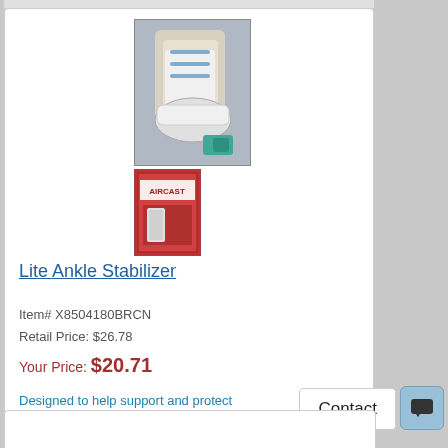[Figure (photo): Lite Ankle Stabilizer product images: a photo of an ankle brace worn on a foot in a white shoe, and a product box below it]
Lite Ankle Stabilizer
Item# X8504180BRCN
Retail Price: $26.78
Your Price: $20.71
Designed to help support and protect unstable or injured ankles. Re-enginee ...
IN STOCK Unit: single
Learn More
Volume Pricing
Contact